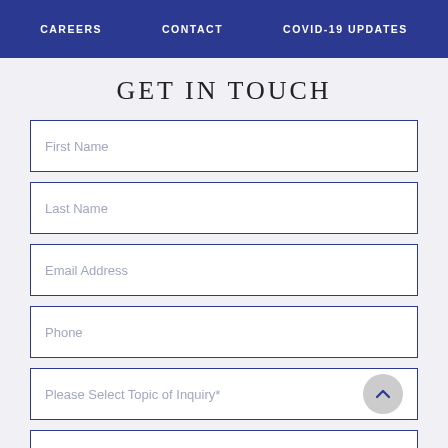CAREERS   CONTACT   COVID-19 UPDATES
GET IN TOUCH
First Name
Last Name
Email Address
Phone
Please Select Topic of Inquiry*
Relationship to Prospect*